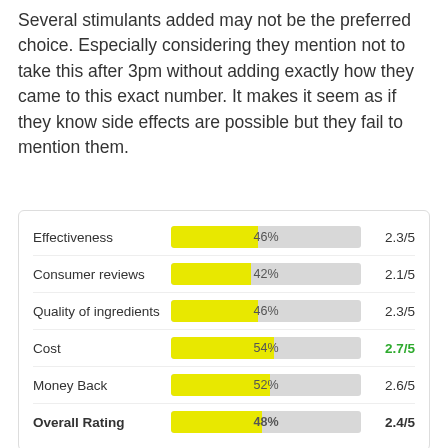Several stimulants added may not be the preferred choice. Especially considering they mention not to take this after 3pm without adding exactly how they came to this exact number. It makes it seem as if they know side effects are possible but they fail to mention them.
[Figure (bar-chart): Rating breakdown]